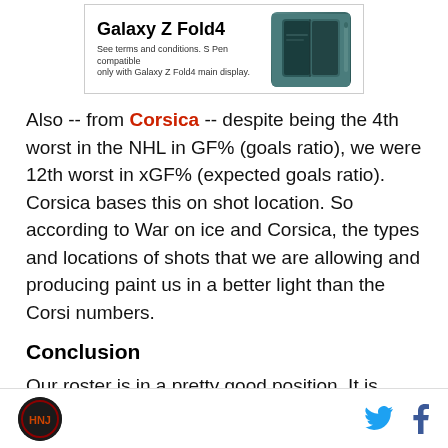[Figure (photo): Samsung Galaxy Z Fold4 advertisement showing the phone with S Pen and teal/dark green color. Text reads 'Galaxy Z Fold4' with subtitle 'See terms and conditions. S Pen compatible only with Galaxy Z Fold4 main display.']
Also -- from Corsica -- despite being the 4th worst in the NHL in GF% (goals ratio), we were 12th worst in xGF% (expected goals ratio). Corsica bases this on shot location. So according to War on ice and Corsica, the types and locations of shots that we are allowing and producing paint us in a better light than the Corsi numbers.
Conclusion
Our roster is in a pretty good position. It is flexible in
HNJ logo | Twitter | Facebook